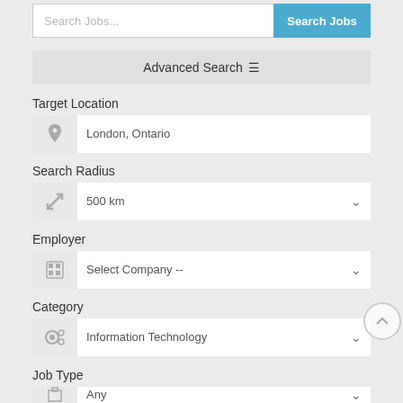[Figure (screenshot): Job search interface with search bar containing placeholder text 'Search Jobs...' and a blue 'Search Jobs' button]
Advanced Search ≡
Target Location
[Figure (screenshot): Location input field with pin icon showing 'London, Ontario']
Search Radius
[Figure (screenshot): Search radius dropdown showing '500 km']
Employer
[Figure (screenshot): Employer dropdown showing 'Select Company --']
Category
[Figure (screenshot): Category dropdown showing 'Information Technology']
Job Type
[Figure (screenshot): Job Type dropdown showing 'Any']